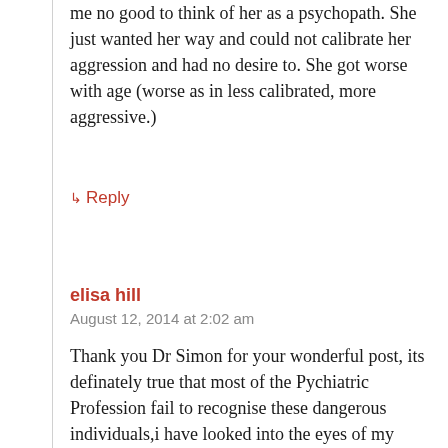me no good to think of her as a psychopath. She just wanted her way and could not calibrate her aggression and had no desire to. She got worse with age (worse as in less calibrated, more aggressive.)
↳ Reply
elisa hill
August 12, 2014 at 2:02 am
Thank you Dr Simon for your wonderful post, its definately true that most of the Pychiatric Profession fail to recognise these dangerous individuals,i have looked into the eyes of my Violent husband as he beat me and saw no love there,just enjoyment..it took me a long time to accept this truth,we are so used to being around 'normal' non aggresive people in our society,its an enormous shock to meet someone so different!!! I wonder if these people are born like this? it is